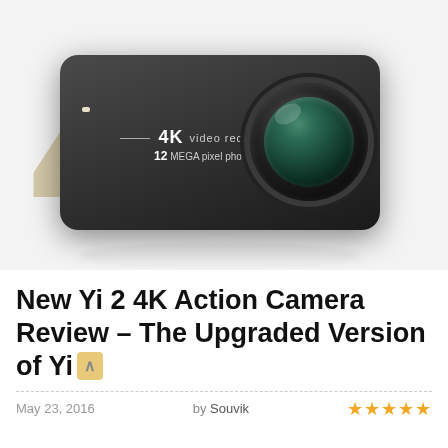[Figure (photo): Yi 2 4K action camera product shot on light grey background with large golden '4K' text behind it. Camera is dark grey/black with a large circular lens on the right side showing green-tinted glass. Camera body shows '4K video recording / 12 MEGA pixel photo' label.]
New Yi 2 4K Action Camera Review – The Upgraded Version of Yi
May 23, 2016    by Souvik    ★★★★★